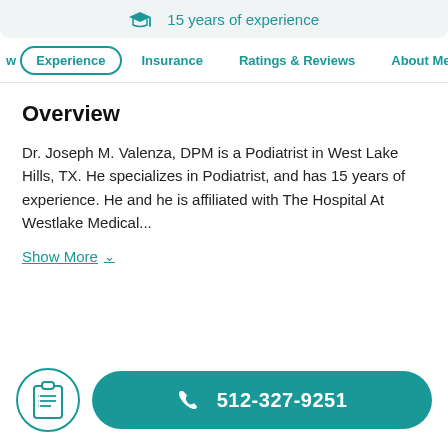15 years of experience
w  Experience  Insurance  Ratings & Reviews  About Me
Overview
Dr. Joseph M. Valenza, DPM is a Podiatrist in West Lake Hills, TX. He specializes in Podiatrist, and has 15 years of experience. He and he is affiliated with The Hospital At Westlake Medical...
Show More
512-327-9251